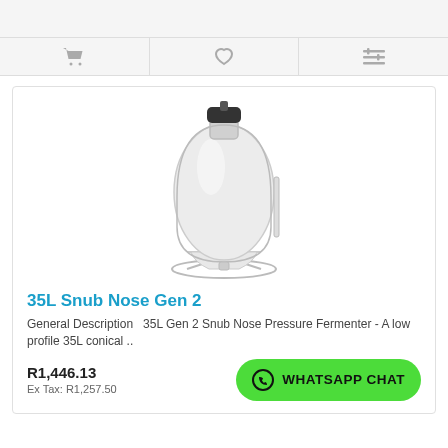[Figure (screenshot): Top navigation bar with grey background (empty)]
[Figure (screenshot): Icon bar with shopping cart, heart/wishlist, and filter/compare icons separated by dividers]
[Figure (photo): 35L Snub Nose Gen 2 conical pressure fermenter in a wire stand frame, transparent plastic vessel with black cap on top]
35L Snub Nose Gen 2
General Description   35L Gen 2 Snub Nose Pressure Fermenter - A low profile 35L conical ..
R1,446.13
Ex Tax: R1,257.50
WHATSAPP CHAT